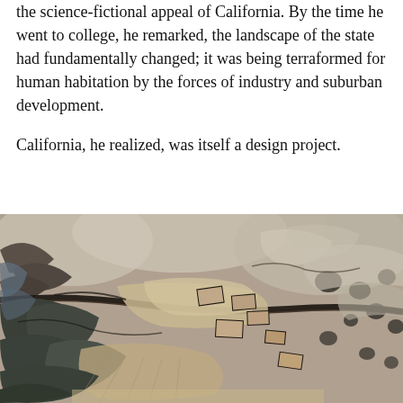the science-fictional appeal of California. By the time he went to college, he remarked, the landscape of the state had fundamentally changed; it was being terraformed for human habitation by the forces of industry and suburban development.

California, he realized, was itself a design project.
[Figure (photo): Aerial satellite photograph of a dry, rugged California landscape showing fault lines, alluvial fans, rocky terrain with earthy brown and grey tones, and small rectangular agricultural or development plots visible among the natural formations.]